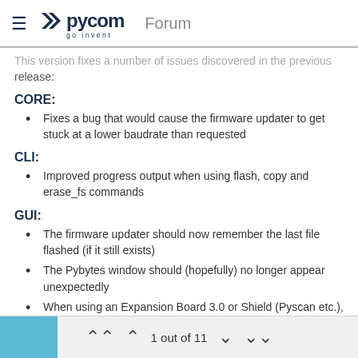Pycom | Forum
This version fixes a number of issues discovered in the previous release:
CORE:
Fixes a bug that would cause the firmware updater to get stuck at a lower baudrate than requested
CLI:
Improved progress output when using flash, copy and erase_fs commands
GUI:
The firmware updater should now remember the last file flashed (if it still exists)
The Pybytes window should (hopefully) no longer appear unexpectedly
When using an Expansion Board 3.0 or Shield (Pyscan etc.), the firmware updater will now make 3 attempts to flash the
1 out of 11